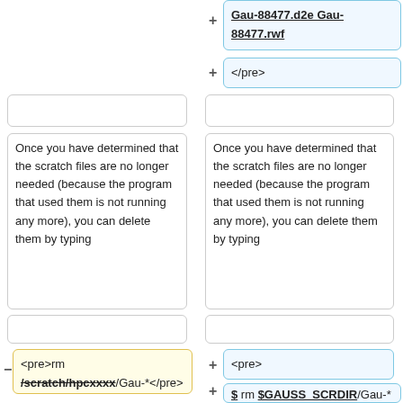+ Gau-88477.d2e Gau-88477.rwf (bold underlined, blue box, right column)
+ </pre> (blue box, right column)
Once you have determined that the scratch files are no longer needed (because the program that used them is not running any more), you can delete them by typing
Once you have determined that the scratch files are no longer needed (because the program that used them is not running any more), you can delete them by typing
- <pre>rm /scratch/hpcxxxx/Gau-*</pre>
+ <pre>
+ $ rm $GAUSS_SCRDIR/Gau-*